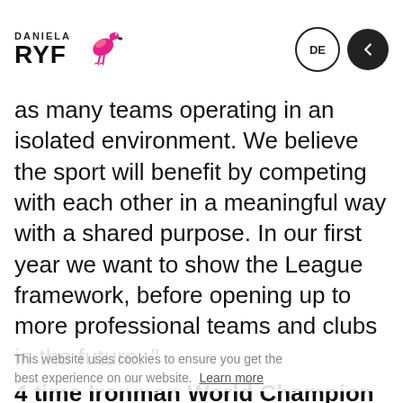DANIELA RYF
as many teams operating in an isolated environment. We believe the sport will benefit by competing with each other in a meaningful way with a shared purpose. In our first year we want to show the League framework, before opening up to more professional teams and clubs in the future. "
This website uses cookies to ensure you get the best experience on our website. Learn more
4 time Ironman World Champion and Team Manager for the 'DR Birds Race Team', Daniela Ryf, said: "This is a great opportunity to support